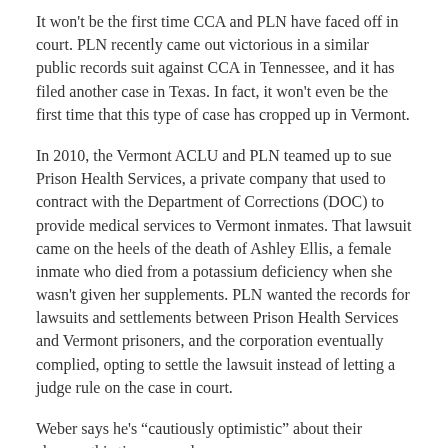It won't be the first time CCA and PLN have faced off in court. PLN recently came out victorious in a similar public records suit against CCA in Tennessee, and it has filed another case in Texas. In fact, it won't even be the first time that this type of case has cropped up in Vermont.
In 2010, the Vermont ACLU and PLN teamed up to sue Prison Health Services, a private company that used to contract with the Department of Corrections (DOC) to provide medical services to Vermont inmates. That lawsuit came on the heels of the death of Ashley Ellis, a female inmate who died from a potassium deficiency when she wasn't given her supplements. PLN wanted the records for lawsuits and settlements between Prison Health Services and Vermont prisoners, and the corporation eventually complied, opting to settle the lawsuit instead of letting a judge rule on the case in court.
Weber says he's “cautiously optimistic” about their chances this time around.
CCA public affairs manager, Mike Machak, responded to a request for comment with the following statement. “Transparency is a critical part of the relationships we have with our government partners and the taxpayers they serve. We comply fully with all applicable open records laws and